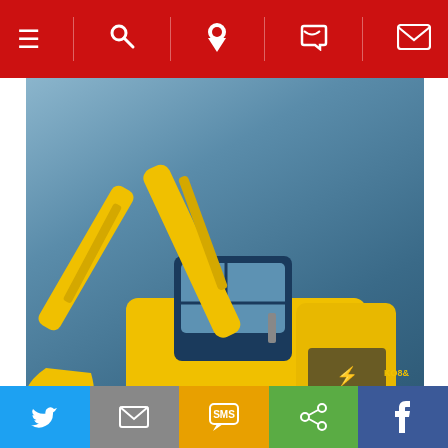[Figure (screenshot): Red navigation bar at top with hamburger menu, search, location pin, phone, and email icons separated by vertical dividers]
[Figure (photo): Yellow Kobelco hydraulic excavator with bucket arm raised, shown against a blue-grey gradient background. Compliance badge in lower right shows US EPA Tier IV Final, EU (NR/MMD) Stage IV, and Japanese Regulations flags.]
View Archive
[Figure (screenshot): Back to top button (grey) and reCAPTCHA badge (white) partially visible]
[Figure (screenshot): Bottom social sharing bar with Twitter (blue), Email (grey), SMS (yellow/orange), Share (green), Facebook (dark blue) icons]